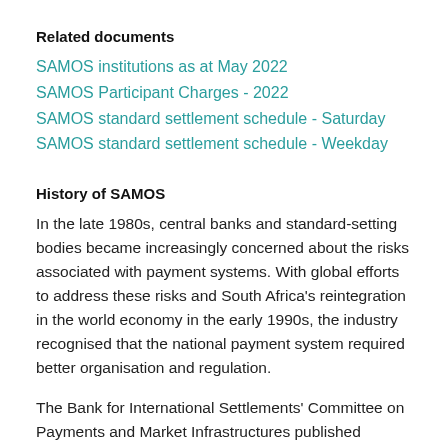Related documents
SAMOS institutions as at May 2022
SAMOS Participant Charges - 2022
SAMOS standard settlement schedule - Saturday
SAMOS standard settlement schedule - Weekday
History of SAMOS
In the late 1980s, central banks and standard-setting bodies became increasingly concerned about the risks associated with payment systems. With global efforts to address these risks and South Africa's reintegration in the world economy in the early 1990s, the industry recognised that the national payment system required better organisation and regulation.
The Bank for International Settlements' Committee on Payments and Market Infrastructures published